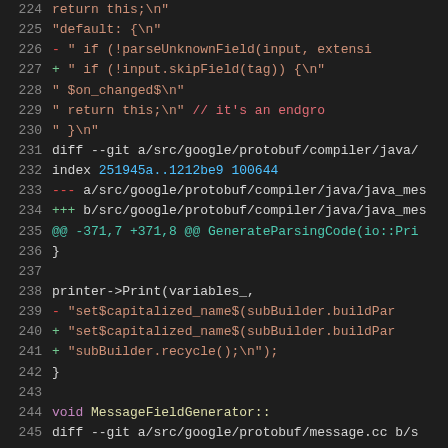[Figure (screenshot): Code diff viewer showing lines 224-245 of a protobuf compiler patch in dark theme editor. Lines show git diff output with removed lines in red, added lines in green, and context lines in white/gray. Line numbers shown on left in gray.]